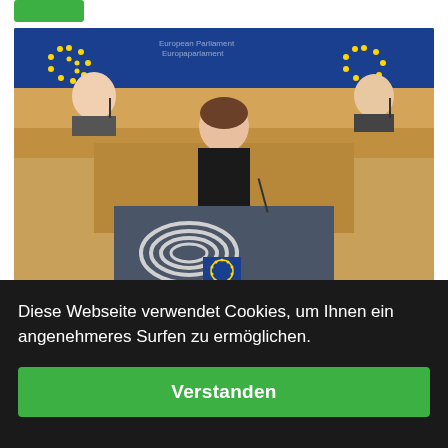[Figure (photo): A woman in a black sleeveless dress speaking at a podium in the European Parliament chamber. The podium displays the European Parliament logo (circular lines with EU flag). Behind her are two people seated at elevated desks, with large blue EU flags in the background.]
23.06.2022 | Europa
Diese Webseite verwendet Cookies, um Ihnen ein angenehmeres Surfen zu ermöglichen.
Verstanden